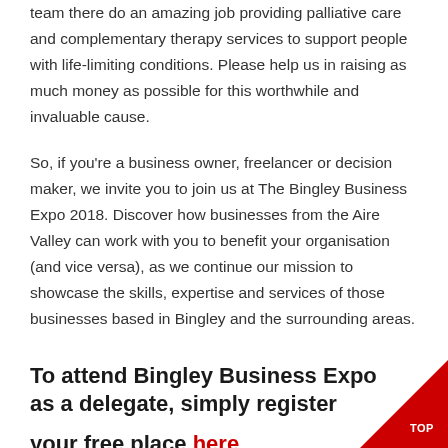team there do an amazing job providing palliative care and complementary therapy services to support people with life-limiting conditions. Please help us in raising as much money as possible for this worthwhile and invaluable cause.
So, if you're a business owner, freelancer or decision maker, we invite you to join us at The Bingley Business Expo 2018. Discover how businesses from the Aire Valley can work with you to benefit your organisation (and vice versa), as we continue our mission to showcase the skills, expertise and services of those businesses based in Bingley and the surrounding areas.
To attend Bingley Business Expo as a delegate, simply register your free place here
[Figure (other): Red triangle in bottom-right corner with white text 'TOP']